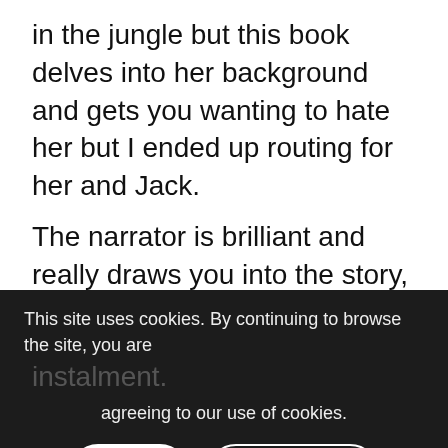in the jungle but this book delves into her background and gets you wanting to hate her but I ended up routing for her and Jack.
The narrator is brilliant and really draws you into the story, I loved the way that the characters react to each other and the drama builds with the twists and turns.
I can't wait to listen to the next book in this instalment.
This site uses cookies. By continuing to browse the site, you are agreeing to our use of cookies.
OK
Learn more